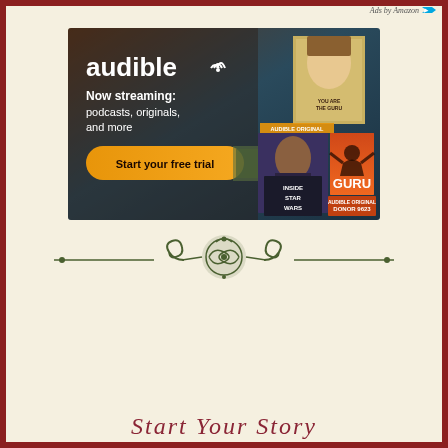Ads by Amazon
[Figure (photo): Audible advertisement banner showing the Audible logo with streaming wave icon, text 'Now streaming: podcasts, originals, and more', an orange 'Start your free trial' button, and several audiobook/podcast cover images including 'Honor Yourself', 'GURU', 'Inside Star Wars', and 'DONOR 9623' on a dark teal/brown gradient background.]
[Figure (illustration): Dark olive green decorative ornamental divider with scrollwork flourishes and a central medallion motif, flanked by horizontal lines extending to the edges.]
Start Your Story